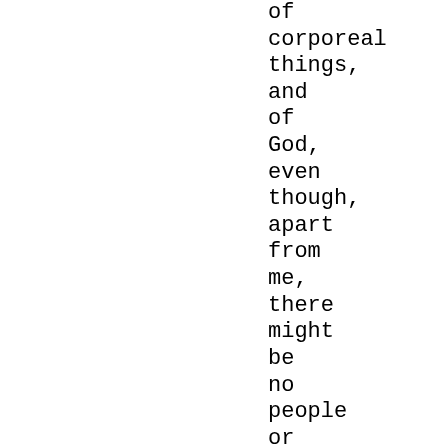of corporeal things, and of God, even though, apart from me, there might be no people or animals or angels in the